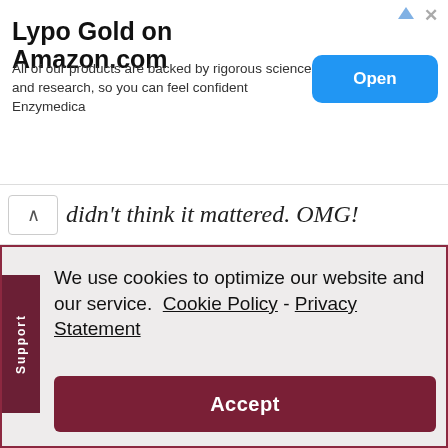[Figure (screenshot): Advertisement banner for Lypo Gold on Amazon.com by Enzymedica with an Open button]
didn't think it mattered. OMG!
We use cookies to optimize our website and our service.  Cookie Policy - Privacy Statement
Accept
[Figure (illustration): Book promotion: BID TO WIN a ZOOM with BEST-SELLING AUTHOR event and Lines of Courage by Jennifer A. Nielsen book cover]